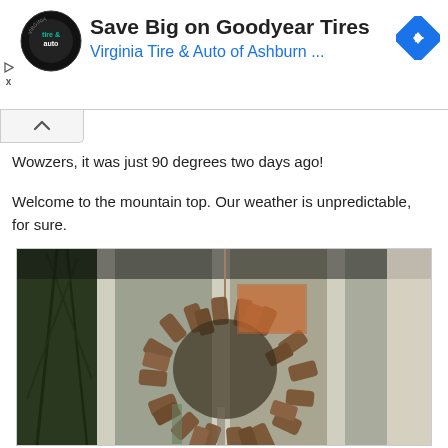[Figure (other): Advertisement banner for Virginia Tire & Auto of Ashburn showing tire & auto logo, text 'Save Big on Goodyear Tires', 'Virginia Tire & Auto of Ashburn ...', and a blue diamond navigation arrow icon]
Wowzers, it was just 90 degrees two days ago!
Welcome to the mountain top. Our weather is unpredictable, for sure.
[Figure (photo): A wine cork wreath hanging in front of a window with white frames. Indoor plants visible in background along with artwork and curtains.]